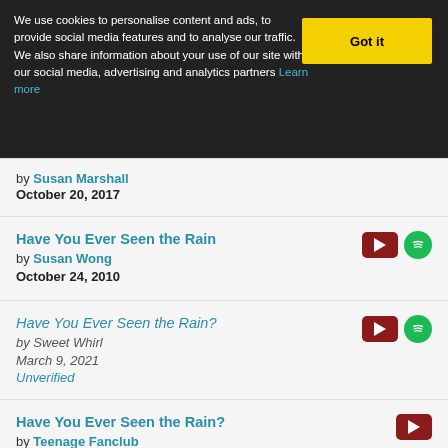We use cookies to personalise content and ads, to provide social media features and to analyse our traffic. We also share information about your use of our site with our social media, advertising and analytics partners Learn more
by Susan Marshall
October 20, 2017
Have You Ever Seen the Rain
by Susan Wong
October 24, 2010
Have You Ever Seen the Rain?
by Sweet Whirl
March 9, 2021
Unverified
Have You Ever Seen the Rain?
by Teenage Fanclub
March 1995
Have You Ever Seen the Rain